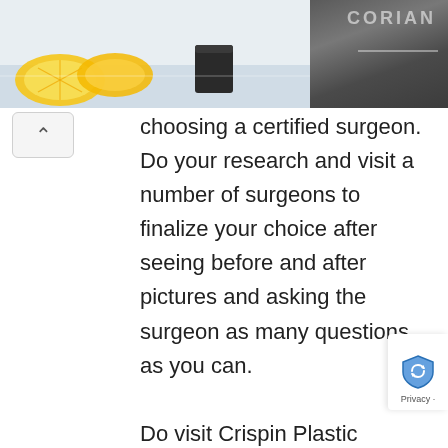[Figure (photo): Header image split into two sections: left side shows lemons/oranges and a dark mug on a light background; right side shows dark textured surface with 'CORIAN' watermark text.]
choosing a certified surgeon. Do your research and visit a number of surgeons to finalize your choice after seeing before and after pictures and asking the surgeon as many questions as you can.

Do visit Crispin Plastic Surgery center if you are anywhere close and want Body Contouring in Atlanta. The center hosts certified plastic surgeons for every cosmetic and plastic surgery procedure. We have seen great feedback for the patients visiting Crispin, take a